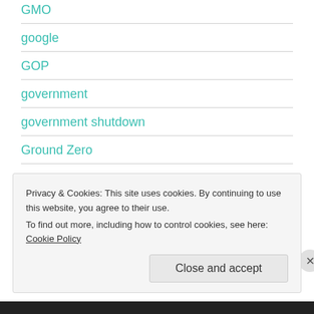GMO
google
GOP
government
government shutdown
Ground Zero
Privacy & Cookies: This site uses cookies. By continuing to use this website, you agree to their use.
To find out more, including how to control cookies, see here: Cookie Policy
Close and accept